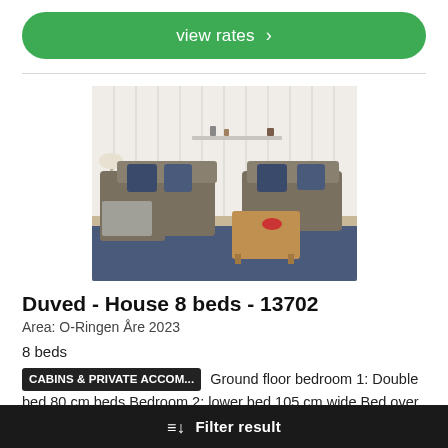[Figure (other): Green rounded button labeled 'view rates >']
[Figure (photo): Interior photo of a living room with a grey corner sofa, blue cushions, a wooden coffee table, and a white panelled wall with a shelf.]
Duved - House 8 beds - 13702
Area: O-Ringen Åre 2023
8 beds
CABINS & PRIVATE ACCOM... Ground floor bedroom 1: Double bed 80 cm beds Bedroom 2: lower bed 105 cm wide Bed over ...
Filter result